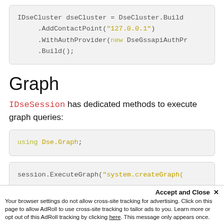[Figure (screenshot): Code block showing IDseCluster dseCluster = DseCluster.Build(...).AddContactPoint("127.0.0.1").WithAuthProvider(new DseGssapiAuthPr...).Build();]
Graph
IDseSession has dedicated methods to execute graph queries:
[Figure (screenshot): Code block showing: using Dse.Graph;]
[Figure (screenshot): Code block showing: session.ExecuteGraph("system.createGraph(...]
Accept and Close ✕
Your browser settings do not allow cross-site tracking for advertising. Click on this page to allow AdRoll to use cross-site tracking to tailor ads to you. Learn more or opt out of this AdRoll tracking by clicking here. This message only appears once.